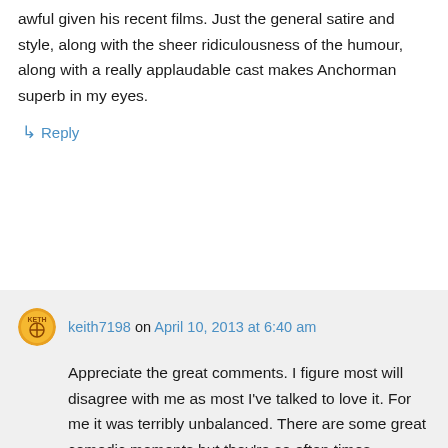awful given his recent films. Just the general satire and style, along with the sheer ridiculousness of the humour, along with a really applaudable cast makes Anchorman superb in my eyes.
↳ Reply
keith7198 on April 10, 2013 at 6:40 am
Appreciate the great comments. I figure most will disagree with me as most I've talked to love it. For me it was terribly unbalanced. There are some great comedic moments but they're so often times bookended by gags that I thought were incredibly lame and flat. At one point I